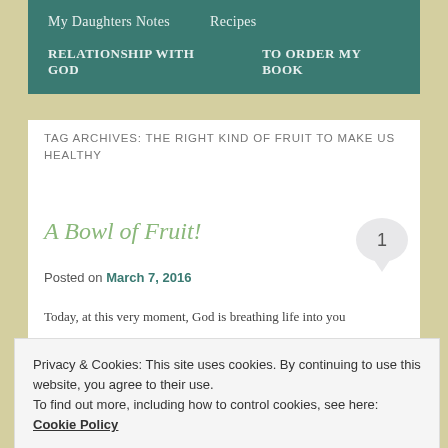My Daughters Notes   Recipes   RELATIONSHIP WITH GOD   TO ORDER MY BOOK
TAG ARCHIVES: THE RIGHT KIND OF FRUIT TO MAKE US HEALTHY
A Bowl of Fruit!
Posted on March 7, 2016
Today, at this very moment, God is breathing life into you
Privacy & Cookies: This site uses cookies. By continuing to use this website, you agree to their use.
To find out more, including how to control cookies, see here: Cookie Policy
your ex never seems to lay off on demands, you hate your